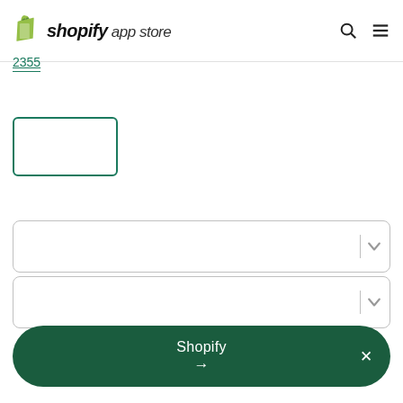shopify app store
2355
[Figure (screenshot): Empty checkbox with teal/green border]
[Figure (screenshot): Dropdown select input field with divider and chevron arrow]
[Figure (screenshot): Second dropdown select input field with divider and chevron arrow]
[Figure (screenshot): Dark green rounded button labeled Shopify with arrow and close X icon]